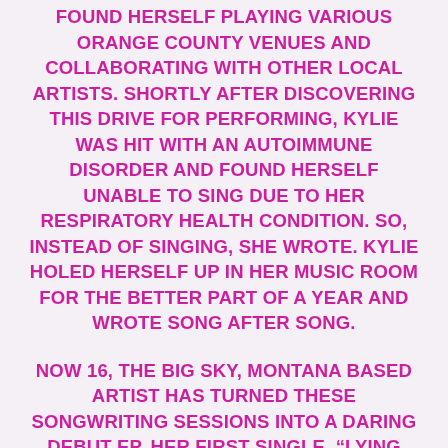FOUND HERSELF PLAYING VARIOUS ORANGE COUNTY VENUES AND COLLABORATING WITH OTHER LOCAL ARTISTS. SHORTLY AFTER DISCOVERING THIS DRIVE FOR PERFORMING, KYLIE WAS HIT WITH AN AUTOIMMUNE DISORDER AND FOUND HERSELF UNABLE TO SING DUE TO HER RESPIRATORY HEALTH CONDITION. SO, INSTEAD OF SINGING, SHE WROTE. KYLIE HOLED HERSELF UP IN HER MUSIC ROOM FOR THE BETTER PART OF A YEAR AND WROTE SONG AFTER SONG.
NOW 16, THE BIG SKY, MONTANA BASED ARTIST HAS TURNED THESE SONGWRITING SESSIONS INTO A DARING DEBUT EP. HER FIRST SINGLE, “LYING EYES,” IS A MOODY, ALTERNATIVE POP HIT THAT EXPLORES THE DARK DEPTHS OF BEING IN A DISHONEST RELATIONSHIP. SHE TAPS INTO THIS INCREDIBLE SENSE OF SELF THAT CAPTURES THE DESPERATION